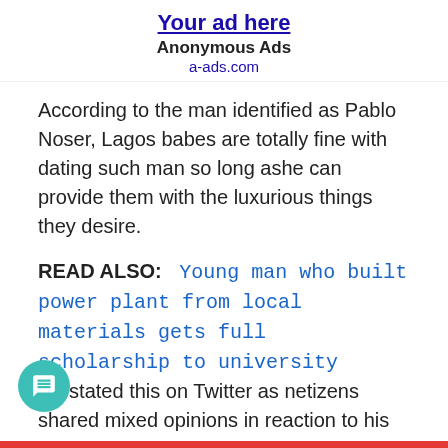[Figure (other): Advertisement banner: 'Your ad here' link, 'Anonymous Ads', 'a-ads.com']
According to the man identified as Pablo Noser, Lagos babes are totally fine with dating such man so long ashe can provide them with the luxurious things they desire.
READ ALSO:  Young man who built power plant from local materials gets full scholarship to university
He stated this on Twitter as netizens shared mixed opinions in reaction to his post.
Pablo's tweet read;
"Lagos babes don't even care about your source